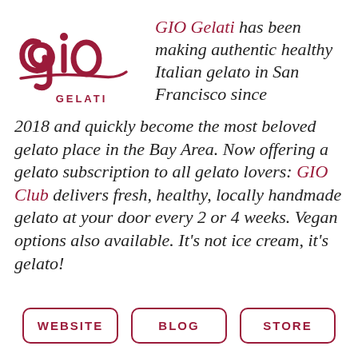[Figure (logo): GIO Gelati logo: stylized cursive 'gio' in dark crimson with 'GELATI' text beneath, decorative swash]
GIO Gelati has been making authentic healthy Italian gelato in San Francisco since 2018 and quickly become the most beloved gelato place in the Bay Area. Now offering a gelato subscription to all gelato lovers: GIO Club delivers fresh, healthy, locally handmade gelato at your door every 2 or 4 weeks. Vegan options also available. It's not ice cream, it's gelato!
WEBSITE
BLOG
STORE